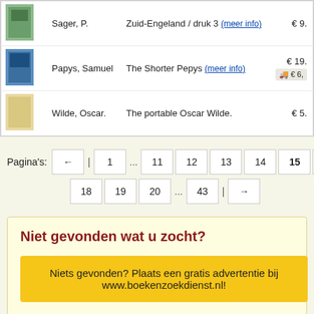|  | Author | Title | Price |
| --- | --- | --- | --- |
| [img] | Sager, P. | Zuid-Engeland / druk 3 (meer info) | € 9. |
| [img] | Papys, Samuel | The Shorter Pepys (meer info) | € 19. / 🚚 € 6, |
| [img] | Wilde, Oscar. | The portable Oscar Wilde. | € 5. |
Pagina's: ← | 1 ... 11 12 13 14 15 16 17 18 19 20 ... 43 | →
Niet gevonden wat u zocht?
Niets gevonden? Plaats een gratis advertentie bij www.boekenzoekdienst.nl!